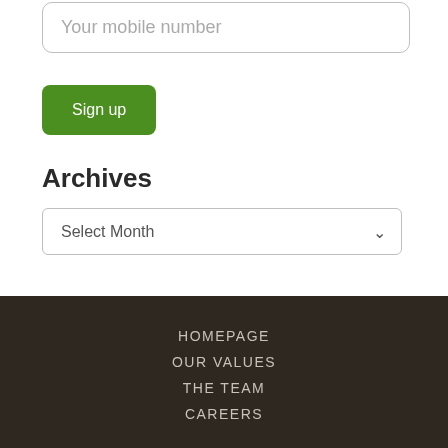Your mobile number
Sign up
Archives
Select Month
HOMEPAGE
OUR VALUES
THE TEAM
CAREERS